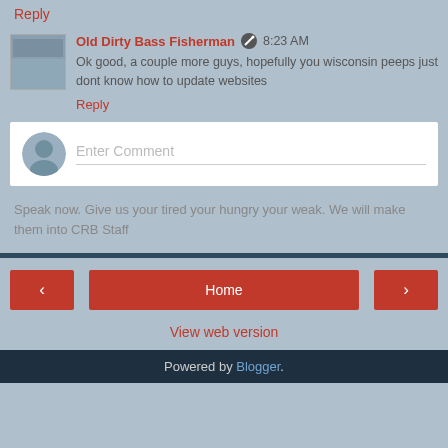Reply
Old Dirty Bass Fisherman  8:23 AM
Ok good, a couple more guys, hopefully you wisconsin peeps just dont know how to update websites
Reply
Enter Comment
Speak now. Give us your tired your hungry your weak. We will make them into CRB Staff
< Home >
View web version
Powered by Blogger.